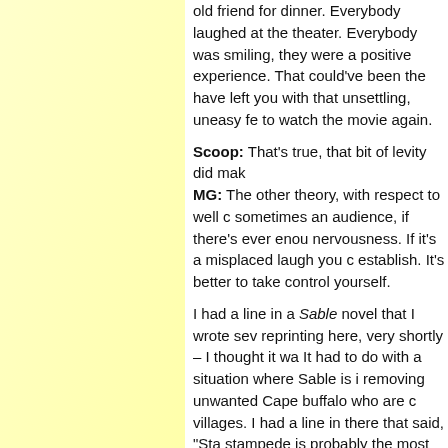old friend for dinner. Everybody laughed at the theater. Everybody was smiling, they were a positive experience. That could've been the have left you with that unsettling, unaesy feeling to watch the movie again.

Scoop: That's true, that bit of levity did make MG: The other theory, with respect to well c sometimes an audience, if there's ever enough nervousness. If it's a misplaced laugh you c establish. It's better to take control yourself.

I had a line in a Sable novel that I wrote sev reprinting here, very shortly – I thought it wa It had to do with a situation where Sable is i removing unwanted Cape buffalo who are c villages. I had a line in there that said, "Sta stampede is probably the most exciting thing that line was hysterical, and it was a funny li going on in this moment? Do you really wan okay, I get it." Because while that scene wa of his home being attacked and his family b judicious about where you put those laughs

Scoop: Did you read comics when you were MG: Of course. The first comics I read, my e any rate, was finding some old comics that r back from World War II. He had Captain Am what all was in there, but my brothers and i